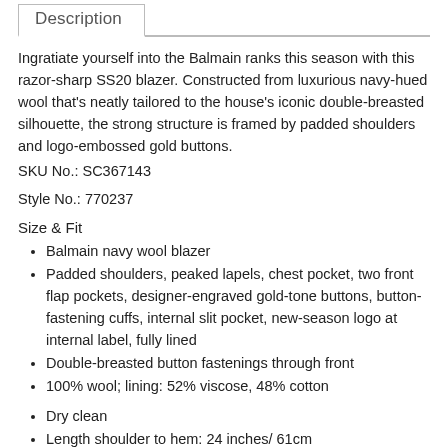Description
Ingratiate yourself into the Balmain ranks this season with this razor-sharp SS20 blazer. Constructed from luxurious navy-hued wool that's neatly tailored to the house's iconic double-breasted silhouette, the strong structure is framed by padded shoulders and logo-embossed gold buttons.
SKU No.: SC367143
Style No.: 770237
Size & Fit
Balmain navy wool blazer
Padded shoulders, peaked lapels, chest pocket, two front flap pockets, designer-engraved gold-tone buttons, button-fastening cuffs, internal slit pocket, new-season logo at internal label, fully lined
Double-breasted button fastenings through front
100% wool; lining: 52% viscose, 48% cotton
Dry clean
Length shoulder to hem: 24 inches/ 61cm
Midweight